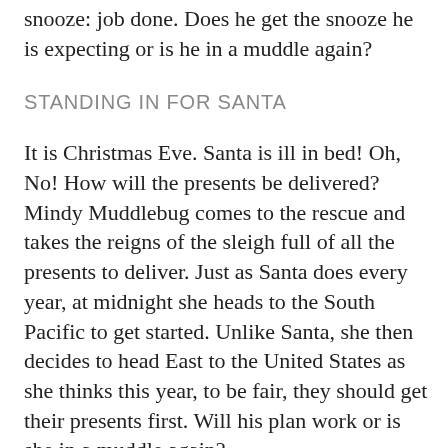snooze: job done. Does he get the snooze he is expecting or is he in a muddle again?
STANDING IN FOR SANTA
It is Christmas Eve. Santa is ill in bed! Oh, No! How will the presents be delivered? Mindy Muddlebug comes to the rescue and takes the reigns of the sleigh full of all the presents to deliver. Just as Santa does every year, at midnight she heads to the South Pacific to get started. Unlike Santa, she then decides to head East to the United States as she thinks this year, to be fair, they should get their presents first. Will his plan work or is she in a muddle again?